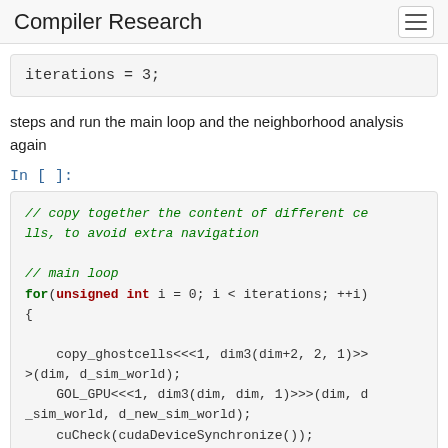Compiler Research
steps and run the main loop and the neighborhood analysis again
In [ ]: